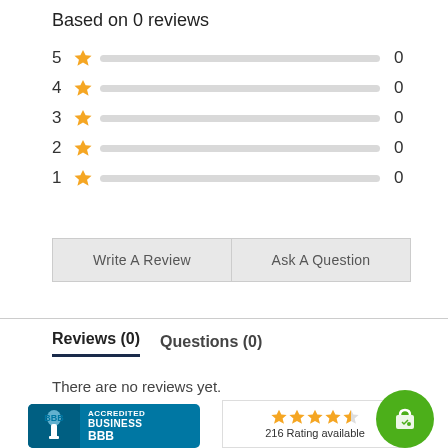Based on 0 reviews
[Figure (infographic): Star rating breakdown showing 5-star to 1-star rows, each with a gray progress bar (empty) and count of 0]
Write A Review
Ask A Question
Reviews (0)   Questions (0)
There are no reviews yet.
[Figure (logo): BBB Accredited Business badge with blue background and torch icon]
[Figure (infographic): 4.5 star rating widget showing 216 Rating available with a green shopping bag circle icon]